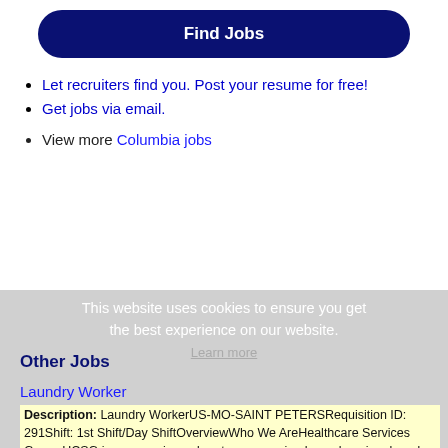Find Jobs
Let recruiters find you. Post your resume for free!
Get jobs via email.
View more Columbia jobs
Other Jobs
This website uses cookies to ensure you get the best experience on our website. Learn more
Laundry Worker
Description: Laundry WorkerUS-MO-SAINT PETERSRequisition ID: 291Shift: 1st Shift/Day ShiftOverviewWho We AreHealthcare Services Group HCSG is an experienced partner managing housekeeping, laundry, dining, and nutritional (more...)